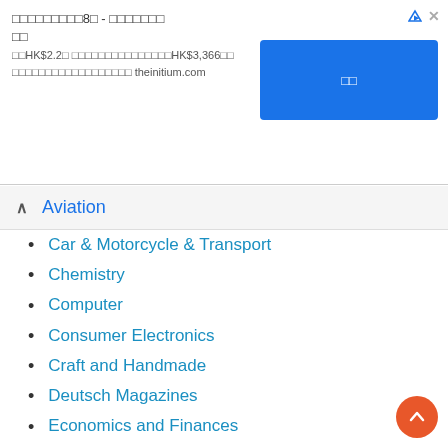[Figure (other): Advertisement banner with Chinese text, HK$ pricing, blue button, and theinitium.com URL]
Aviation
Car & Motorcycle & Transport
Chemistry
Computer
Consumer Electronics
Craft and Handmade
Deutsch Magazines
Economics and Finances
Films & TV
Fishing and Hunting
Food and Cooking
For Kids & Teens
Frensh magazines
Full Year Collection Magazines